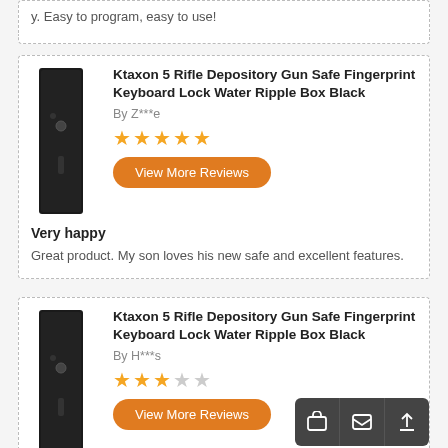y. Easy to program, easy to use!
Ktaxon 5 Rifle Depository Gun Safe Fingerprint Keyboard Lock Water Ripple Box Black
By Z***e
[Figure (other): 5 full orange stars rating]
View More Reviews
Very happy
Great product. My son loves his new safe and excellent features.
Ktaxon 5 Rifle Depository Gun Safe Fingerprint Keyboard Lock Water Ripple Box Black
By H***s
[Figure (other): 3 full orange stars and 2 empty stars rating]
View More Reviews
Works as expected